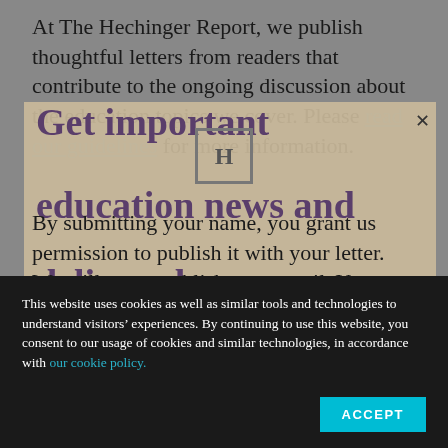At The Hechinger Report, we publish thoughtful letters from readers that contribute to the ongoing discussion about the education topics we cover. Please read our guidelines for more information.
[Figure (logo): The Hechinger Report [H] logo in a box]
Get important education news and delivered
By submitting your name, you grant us permission to publish it with your letter. We will never publish your email. You must fill out all fields to submit a letter.
This website uses cookies as well as similar tools and technologies to understand visitors' experiences. By continuing to use this website, you consent to our usage of cookies and similar technologies, in accordance with our cookie policy.